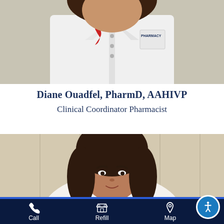[Figure (photo): A pharmacist wearing a white lab coat with a red ribbon pin and a pharmacy logo on the chest, photographed from the torso up against a light background.]
Diane Ouadfel, PharmD, AAHIVP
Clinical Coordinator Pharmacist
[Figure (photo): A woman with long dark hair photographed from mid-torso up against a beige curtain background, partially visible.]
Call   Refill   Map